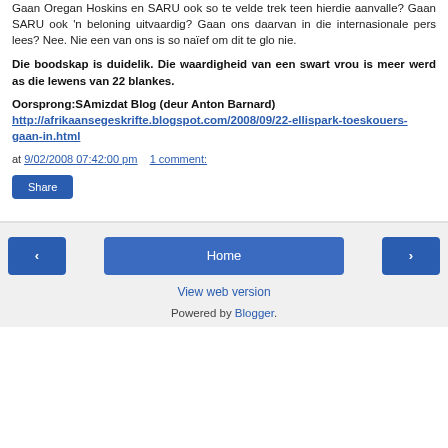Gaan Oregan Hoskins en SARU ook so te velde trek teen hierdie aanvalle? Gaan SARU ook 'n beloning uitvaardig? Gaan ons daarvan in die internasionale pers lees? Nee. Nie een van ons is so naïef om dit te glo nie.
Die boodskap is duidelik. Die waardigheid van een swart vrou is meer werd as die lewens van 22 blankes.
Oorsprong:SAmizdat Blog (deur Anton Barnard)
http://afrikaansegeskrifte.blogspot.com/2008/09/22-ellispark-toeskouers-gaan-in.html
at 9/02/2008 07:42:00 pm   1 comment:
Share
‹
Home
›
View web version
Powered by Blogger.